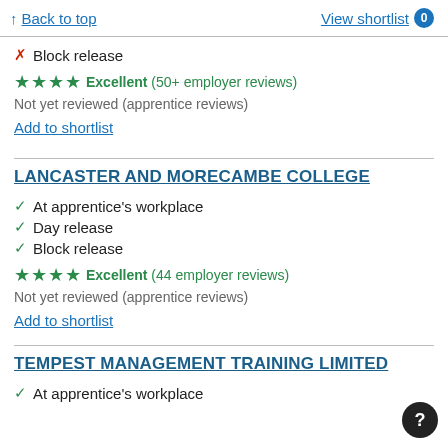↑ Back to top | View shortlist 0
✗ Block release
★★★★ Excellent (50+ employer reviews)
Not yet reviewed (apprentice reviews)
Add to shortlist
LANCASTER AND MORECAMBE COLLEGE
✓ At apprentice's workplace
✓ Day release
✓ Block release
★★★★ Excellent (44 employer reviews)
Not yet reviewed (apprentice reviews)
Add to shortlist
TEMPEST MANAGEMENT TRAINING LIMITED
✓ At apprentice's workplace